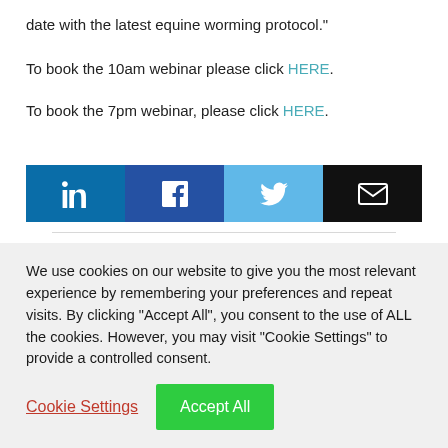date with the latest equine worming protocol."
To book the 10am webinar please click HERE.
To book the 7pm webinar, please click HERE.
[Figure (infographic): Social share buttons: LinkedIn (dark blue), Facebook (blue), Twitter (light blue), Email (black)]
We use cookies on our website to give you the most relevant experience by remembering your preferences and repeat visits. By clicking "Accept All", you consent to the use of ALL the cookies. However, you may visit "Cookie Settings" to provide a controlled consent.
Cookie Settings | Accept All